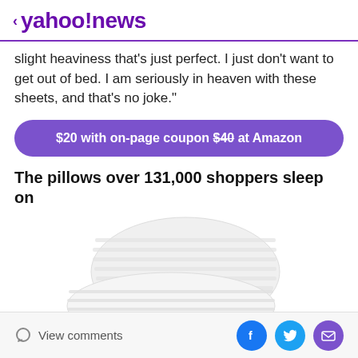yahoo!news
slight heaviness that's just perfect. I just don't want to get out of bed. I am seriously in heaven with these sheets, and that's no joke."
$20 with on-page coupon $40 at Amazon
The pillows over 131,000 shoppers sleep on
[Figure (photo): Two white hotel-style striped pillows stacked against a white background]
View comments